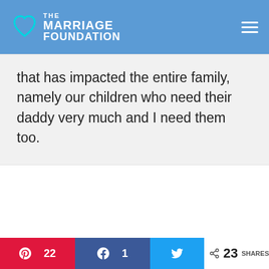THE MARRIAGE FOUNDATION
that has impacted the entire family, namely our children who need their daddy very much and I need them too.
PAUL FRIEDMAN Post Author FEBRUARY 28, 2019 / REPLY
My heart goes out to all of you.
22  1  23 SHARES